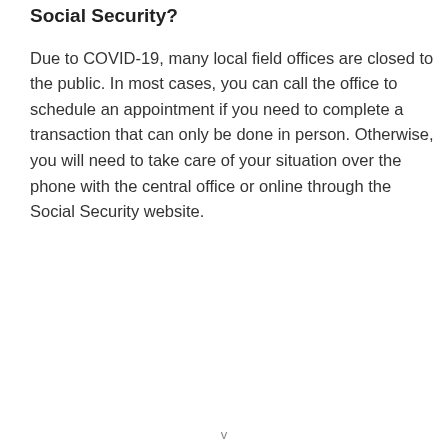Social Security?
Due to COVID-19, many local field offices are closed to the public. In most cases, you can call the office to schedule an appointment if you need to complete a transaction that can only be done in person. Otherwise, you will need to take care of your situation over the phone with the central office or online through the Social Security website.
v